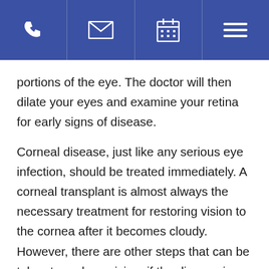[Navigation bar with phone, email, calendar, and menu icons]
portions of the eye. The doctor will then dilate your eyes and examine your retina for early signs of disease.
Corneal disease, just like any serious eye infection, should be treated immediately. A corneal transplant is almost always the necessary treatment for restoring vision to the cornea after it becomes cloudy. However, there are other steps that can be taken to prolong vision, if the disease is treated in the early stages.